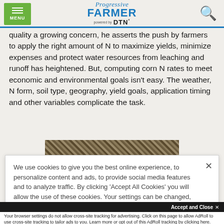MENU | Progressive FARMER powered by DTN | [search icon]
quality a growing concern, he asserts the push by farmers to apply the right amount of N to maximize yields, minimize expenses and protect water resources from leaching and runoff has heightened. But, computing corn N rates to meet economic and environmental goals isn't easy. The weather, N form, soil type, geography, yield goals, application timing and other variables complicate the task.
[Figure (photo): Partial image of corn stalks or agricultural materials, showing a woven/bundled texture]
We use cookies to give you the best online experience, to personalize content and ads, to provide social media features and to analyze traffic. By clicking 'Accept All Cookies' you will allow the use of these cookies. Your settings can be changed, including withdrawing your consent at any time, by clicking 'Cookie Settings'. Find out more on how we and third parties use cookies in our Cookie Policy
Accept and Close ✕
Your browser settings do not allow cross-site tracking for advertising. Click on this page to allow AdRoll to use cross-site tracking to tailor ads to you. Learn more or opt out of this AdRoll tracking by clicking here. This message only appears once.